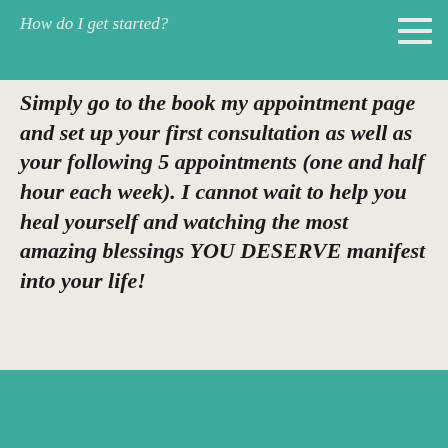How do I get started?
Simply go to the book my appointment page and set up your first consultation as well as your following 5 appointments (one and half hour each week). I cannot wait to help you heal yourself and watching the most amazing blessings YOU DESERVE manifest into your life!